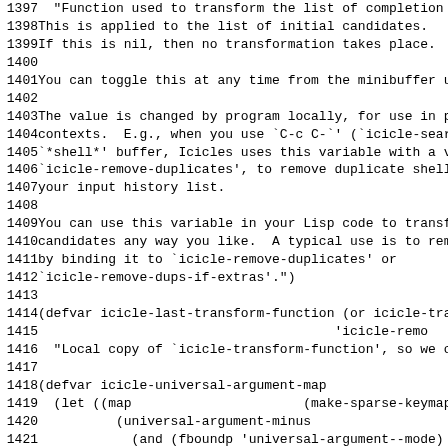Code listing lines 1397-1428+ showing Emacs Lisp source code for icicle-transform-function and icicle-universal-argument-map defvar definitions